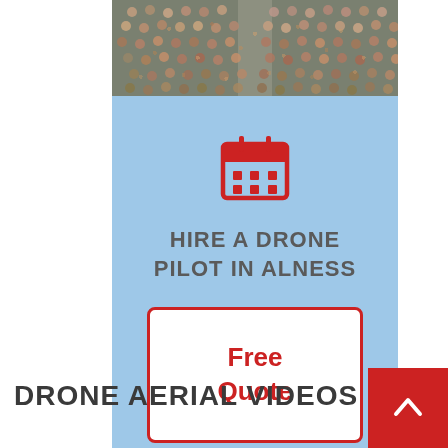[Figure (photo): Aerial or elevated view of a crowd of people in stadium-style seating]
[Figure (infographic): Light blue promotional panel with a red calendar icon, headline 'HIRE A DRONE PILOT IN ALNESS', and a white button with red border reading 'Free Quote']
HIRE A DRONE PILOT IN ALNESS
Free Quote
DRONE AERIAL VIDEOS